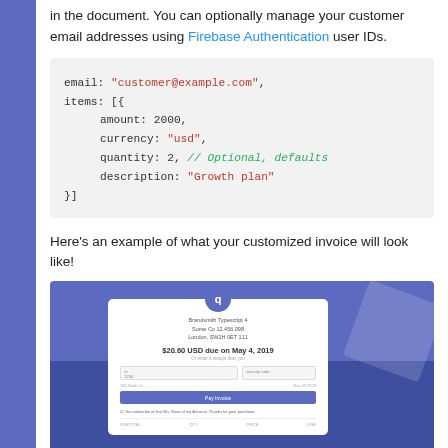in the document. You can optionally manage your customer email addresses using Firebase Authentication user IDs.
[Figure (screenshot): Code block showing JSON-like object with email, items array containing amount: 2000, currency: "usd", quantity: 2, // Optional, defaults, description: "Growth plan"]
Here's an example of what your customized invoice will look like!
[Figure (screenshot): Screenshot of a Stripe-style invoice payment page showing a company logo, invoice amount $20.60 USD due on May 4, 2019, payment form fields, and a Pay Invoice button.]